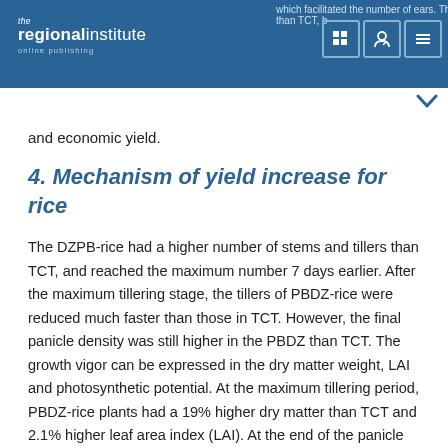which facilitated the number of ears. The PBDZ wheat was ... than TCT, but with the fi... ica... ha...
and economic yield.
4. Mechanism of yield increase for rice
The DZPB-rice had a higher number of stems and tillers than TCT, and reached the maximum number 7 days earlier. After the maximum tillering stage, the tillers of PBDZ-rice were reduced much faster than those in TCT. However, the final panicle density was still higher in the PBDZ than TCT. The growth vigor can be expressed in the dry matter weight, LAI and photosynthetic potential. At the maximum tillering period, PBDZ-rice plants had a 19% higher dry matter than TCT and 2.1% higher leaf area index (LAI). At the end of the panicle initiation period, PBDZ-rice was 59% heavier than TCT, had a 2.9% larger LAI and at the milking stage, the former two parameters were 34% and 4.2% higher respectively. From the